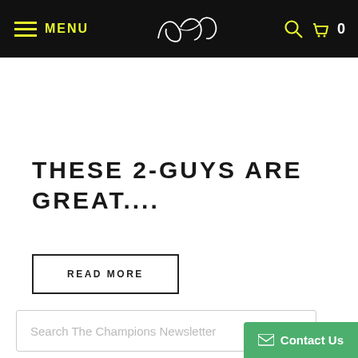MENU | Logo | Search | Cart 0
THESE 2-GUYS ARE GREAT....
READ MORE
Search The Champions Newsletter
Contact Us